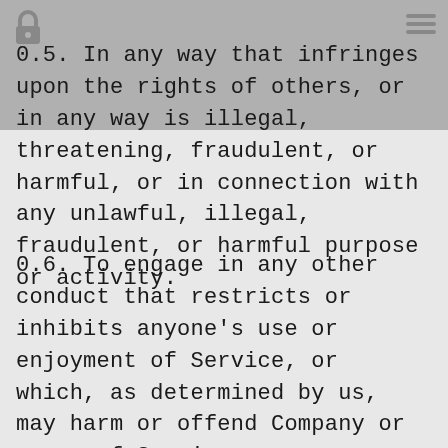0.5. In any way that infringes upon the rights of others, or in any way is illegal, threatening, fraudulent, or harmful, or in connection with any unlawful, illegal, fraudulent, or harmful purpose or activity.
0.6. To engage in any other conduct that restricts or inhibits anyone's use or enjoyment of Service, or which, as determined by us, may harm or offend Company or users of Service or expose them to liability.